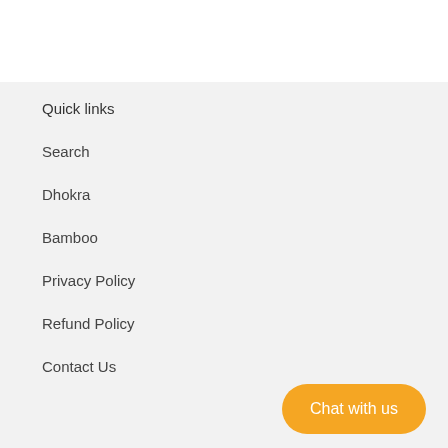Quick links
Search
Dhokra
Bamboo
Privacy Policy
Refund Policy
Contact Us